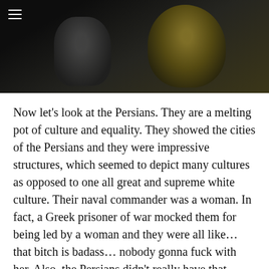[Figure (photo): Dark screenshot from a film or video showing two figures against a dark background, with a menu/hamburger icon in the top left corner.]
Now let's look at the Persians. They are a melting pot of culture and equality. They showed the cities of the Persians and they were impressive structures, which seemed to depict many cultures as opposed to one all great and supreme white culture. Their naval commander was a woman. In fact, a Greek prisoner of war mocked them for being led by a woman and they were all like… that bitch is badass… nobody gonna fuck with her. Also, the Persians didn't really have that many slaves. In fact, their army was not really full of slaves but of free soldiers from 47(!), or more, ethnic groups. If anything, the Greeks were the Nazis and the Persians were the Allies.